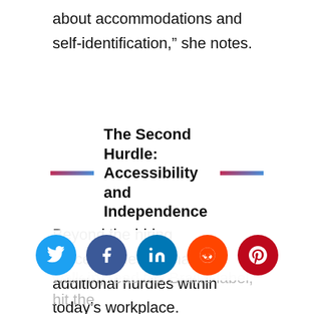about accommodations and self-identification,” she notes.
The Second Hurdle: Accessibility and Independence
Beyond the hiring process, there remain additional hurdles within today’s workplace. Haben’s experience showcases this. As she explained, some of these are unintended consequences of technology. She gave us this example: “For most of my
walk in, read the Braille label, hit the